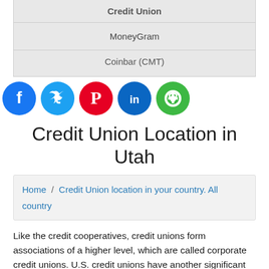| Credit Union |
| MoneyGram |
| Coinbar (CMT) |
[Figure (other): Social media share icons: Facebook (blue), Twitter (light blue), Pinterest (red), LinkedIn (dark blue), ShareThis/Sharethis (green)]
Credit Union Location in Utah
Home / Credit Union location in your country. All country
Like the credit cooperatives, credit unions form associations of a higher level, which are called corporate credit unions. U.S. credit unions have another significant difference from the credit cooperatives of farmers: the first have major proportion